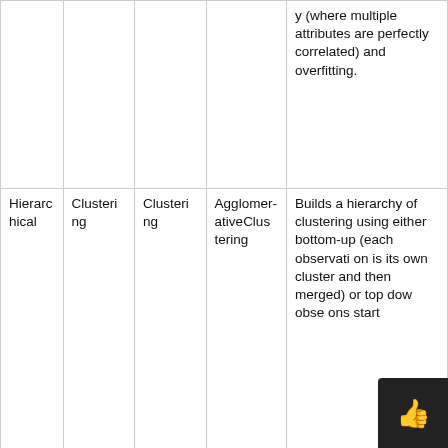|  |  |  |  |  |
| --- | --- | --- | --- | --- |
|  |  |  |  | y (where multiple attributes are perfectly correlated) and overfitting. |
| Hierarchical | Clustering | Clustering | AgglomerativeClustering | Builds a hierarchy of clustering using either bottom-up (each observation is its own cluster and then merged) or top down observations start |